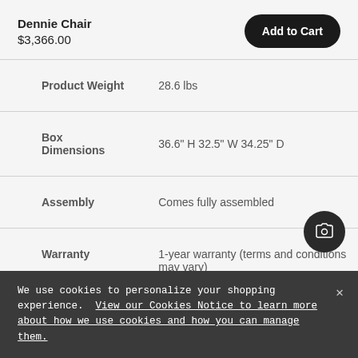Dennie Chair
$3,366.00
Add to Cart
| Attribute | Value |
| --- | --- |
| Product Weight | 28.6 lbs |
| Box Dimensions | 36.6" H 32.5" W 34.25" D |
| Assembly | Comes fully assembled |
| Warranty | 1-year warranty (terms and conditions may vary) |
We use cookies to personalize your shopping experience. View our Cookies Notice to learn more about how we use cookies and how you can manage them.